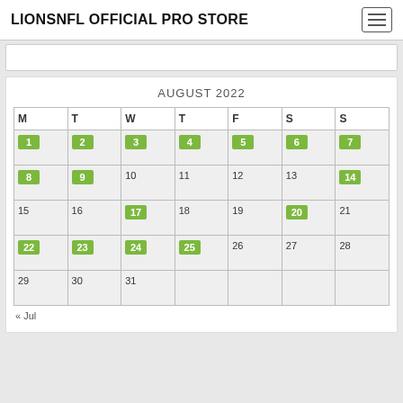LIONSNFL OFFICIAL PRO STORE
| M | T | W | T | F | S | S |
| --- | --- | --- | --- | --- | --- | --- |
| 1 | 2 | 3 | 4 | 5 | 6 | 7 |
| 8 | 9 | 10 | 11 | 12 | 13 | 14 |
| 15 | 16 | 17 | 18 | 19 | 20 | 21 |
| 22 | 23 | 24 | 25 | 26 | 27 | 28 |
| 29 | 30 | 31 |  |  |  |  |
« Jul